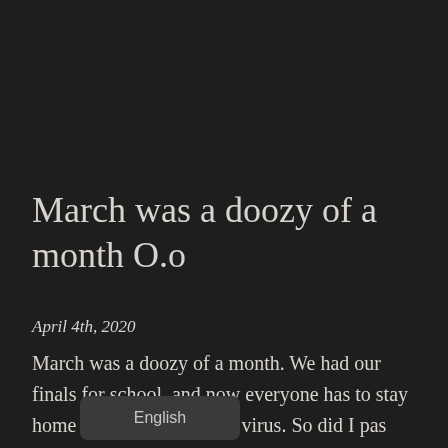March was a doozy of a month O.o
April 4th, 2020
March was a doozy of a month. We had our finals for school, and now everyone has to stay home due to the covid-19 virus. So did I pas[sed my] es? I passed 3 out of the 4. Not sur[e why I] didn't pass math. So I have to